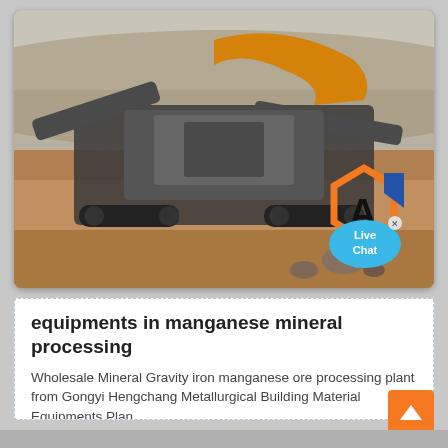[Figure (photo): Photograph of a large mobile mining/crushing machine (jaw crusher or screener) with tracked chassis, operating in an open-cut quarry or excavation site with orange sandy soil. A logo with orange hexagon shape and blue element is visible in the lower-right corner, along with a 'Live Chat' speech-bubble widget.]
equipments in manganese mineral processing
Wholesale Mineral Gravity iron manganese ore processing plant from Gongyi Hengchang Metallurgical Building Material Equipments Plan.